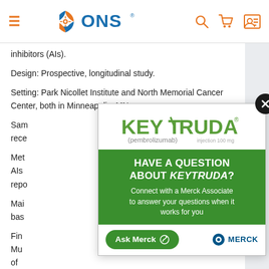ONS navigation bar with logo, search, cart, and account icons
inhibitors (AIs).
Design: Prospective, longitudinal study.
Setting: Park Nicollet Institute and North Memorial Cancer Center, both in Minneapolis, MN.
Sample: [partially obscured by ad] rece[iving]...
Met[hods:] ... g AIs ... repo[rted]...
Mai[n outcome:] ... n bas[ed]...
Fin[dings:] ... Mus[cle] ... of
[Figure (advertisement): KEYTRUDA (pembrolizumab) injection 100mg advertisement overlay. Green banner: 'HAVE A QUESTION ABOUT KEYTRUDA? Connect with a Merck Associate to answer your questions when it works for you'. Ask Merck button. Merck logo. Close button (X) in top right.]